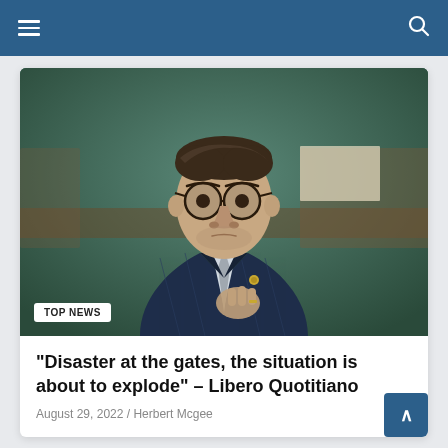Navigation bar with hamburger menu and search icon
[Figure (photo): A man in a dark navy checked suit with round glasses, sitting in what appears to be a parliamentary chamber, hand raised to chin in a thoughtful pose. A 'TOP NEWS' badge is overlaid at the bottom left of the photo.]
“Disaster at the gates, the situation is about to explode” – Libero Quotitiano
August 29, 2022 / Herbert Mcgee